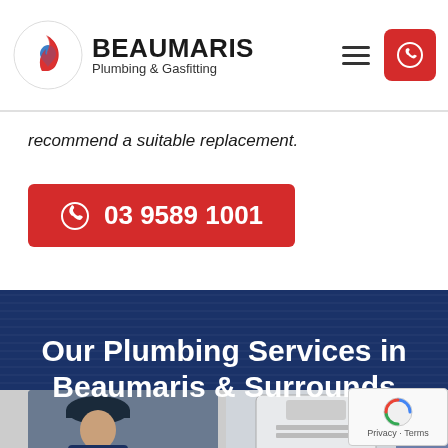[Figure (logo): Beaumaris Plumbing & Gasfitting logo with red and blue flame/water drop circle icon]
recommend a suitable replacement.
03 9589 1001
Our Plumbing Services in Beaumaris & Surrounds
[Figure (photo): Plumber working at a sink]
[Figure (photo): Hot water system / appliance unit]